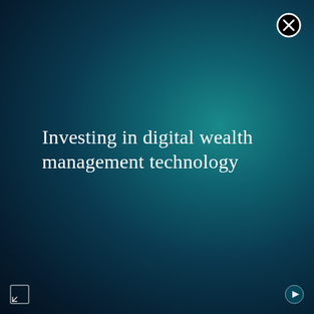[Figure (other): Close/dismiss button (X in a circle) in top-right corner]
Investing in digital wealth management technology
[Figure (other): Bottom-left navigation icon (expand/fullscreen arrow symbol)]
[Figure (other): Bottom-right navigation icon (play/next arrow symbol)]